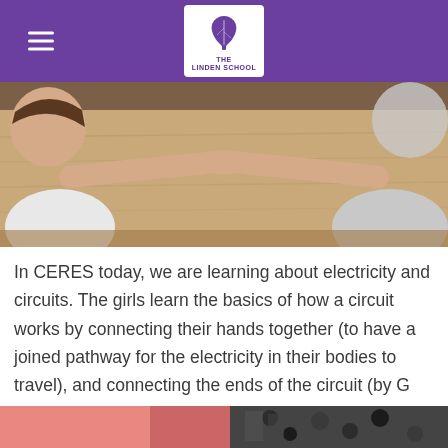The Linden School
[Figure (photo): Two children reaching their hands across a wooden table and joining hands, demonstrating a circuit.]
In CERES today, we are learning about electricity and circuits. The girls learn the basics of how a circuit works by connecting their hands together (to have a joined pathway for the electricity in their bodies to travel), and connecting the ends of the circuit (by G and Z) to a ball that lights up. As they lift and reattach their hands, the light goes off and on.
[Figure (photo): Partial view of students working on electricity experiment.]